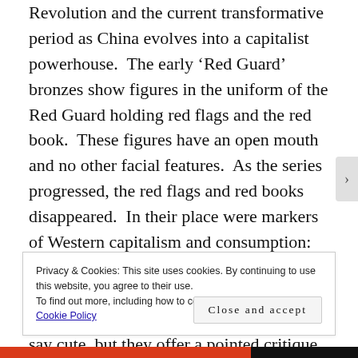Revolution and the current transformative period as China evolves into a capitalist powerhouse. The early 'Red Guard' bronzes show figures in the uniform of the Red Guard holding red flags and the red book. These figures have an open mouth and no other facial features. As the series progressed, the red flags and red books disappeared. In their place were markers of Western capitalism and consumption: Coca Cola bottles, McDonald's hamburgers, cell phones, coins. The works are humorous, pop-like, and dare I say cute, but they offer a pointed critique. The Cultural Revolution and its Red Guard went after the 'bourgeois' and its
Privacy & Cookies: This site uses cookies. By continuing to use this website, you agree to their use.
To find out more, including how to control cookies, see here: Cookie Policy
Close and accept